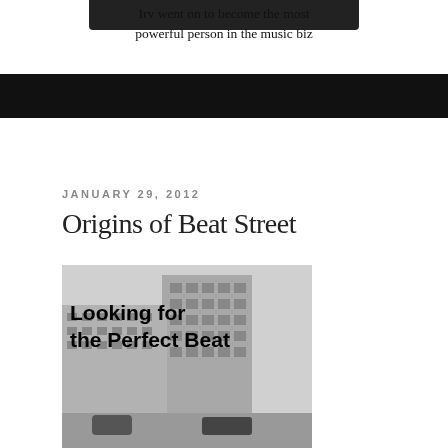[Figure (photo): Top portion of a photo of a person (head/upper body), partially cropped. Below the photo is a handwritten-style caption reading 'Irv went on to become the most powerful person in the music biz'. Below that is a black banner/bar.]
Irv went on to become the most powerful person in the music biz
JANUARY 29, 2012
Origins of Beat Street
[Figure (photo): Black and white photograph of a city street with tall apartment buildings. Overlaid text reads 'Looking for the Perfect Beat' in bold black font.]